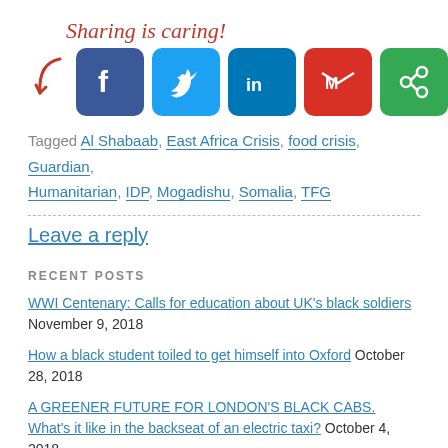[Figure (infographic): Sharing is caring! banner with a red cursive text and red arrow pointing to social media share buttons (Facebook, Twitter, LinkedIn, Gmail, and a green share button)]
Tagged Al Shabaab, East Africa Crisis, food crisis, Guardian, Humanitarian, IDP, Mogadishu, Somalia, TFG
Leave a reply
RECENT POSTS
WWI Centenary: Calls for education about UK's black soldiers November 9, 2018
How a black student toiled to get himself into Oxford October 28, 2018
A GREENER FUTURE FOR LONDON'S BLACK CABS. What's it like in the backseat of an electric taxi? October 4, 2018
Is Imran Khan good looking enough to get a free ice cream in East London? August 2, 2018